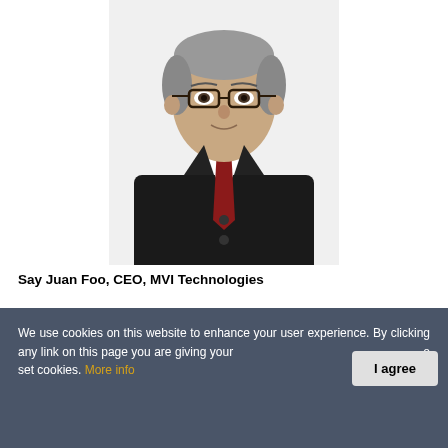[Figure (photo): Professional headshot photo of Say Juan Foo, a middle-aged man wearing a black suit, white dress shirt, and dark red tie, with gray-streaked hair and glasses, against a white background.]
Say Juan Foo, CEO, MVI Technologies
We use cookies on this website to enhance your user experience. By clicking any link on this page you are giving your consent to set cookies. More info